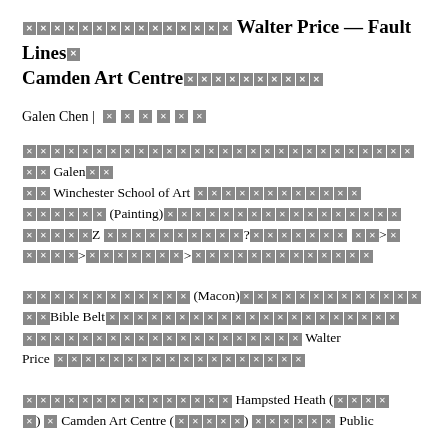[blocked chars] Walter Price — Fault Lines [blocked] Camden Art Centre [blocked chars]
Galen Chen | [blocked chars]
[blocked chars] Galen [blocked] Winchester School of Art [blocked chars] (Painting) [blocked chars] Z [blocked chars]? [blocked chars] > [blocked chars] > [blocked chars] > [blocked chars]
[blocked chars] (Macon) [blocked chars] Bible Belt [blocked chars] Walter Price [blocked chars]
[blocked chars] Hampsted Heath ([blocked]) [blocked] Camden Art Centre ([blocked chars]) [blocked chars] Public